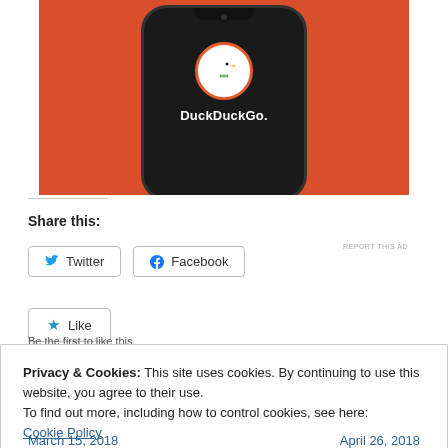[Figure (screenshot): DuckDuckGo advertisement showing a smartphone with DuckDuckGo logo and text on an orange/red background]
REPORT THIS AD
Share this:
Twitter  Facebook
Like
Privacy & Cookies: This site uses cookies. By continuing to use this website, you agree to their use.
To find out more, including how to control cookies, see here:
Cookie Policy
Close and accept
March 15, 2018    April 26, 2018